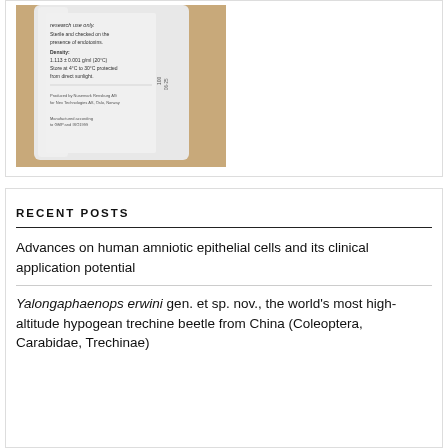[Figure (photo): Close-up photo of a white laboratory bottle/container label showing text about research use, sterility, endotoxins, density 1.113±0.001 g/ml (20°C), storage at 4°C to 30°C protected from direct sunlight, produced by Nusemark Rensburg AG for Nex Technologies AS, Oslo, Norway.]
RECENT POSTS
Advances on human amniotic epithelial cells and its clinical application potential
Yalongaphaenops erwini gen. et sp. nov., the world's most high-altitude hypogean trechine beetle from China (Coleoptera, Carabidae, Trechinae)